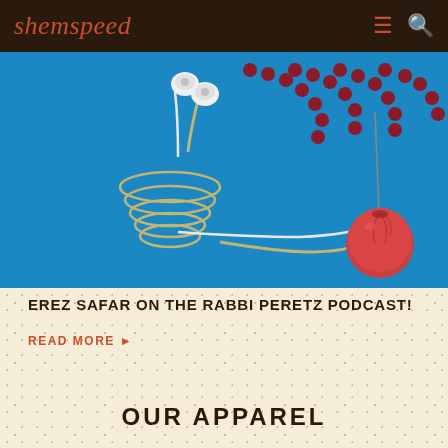shemspeed
[Figure (photo): Blue background with white earbuds/earphones with coiled cord and a red tomato with a needle and red beads arranged artistically]
EREZ SAFAR ON THE RABBI PERETZ PODCAST!
READ MORE ▶
OUR APPAREL